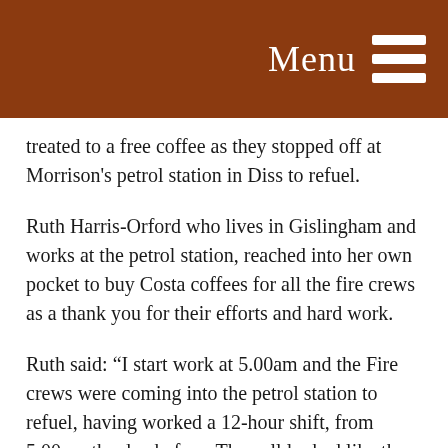Menu
treated to a free coffee as they stopped off at Morrison's petrol station in Diss to refuel.
Ruth Harris-Orford who lives in Gislingham and works at the petrol station, reached into her own pocket to buy Costa coffees for all the fire crews as a thank you for their efforts and hard work.
Ruth said: “I start work at 5.00am and the Fire crews were coming into the petrol station to refuel, having worked a 12-hour shift, from 5.00pm the day before. They all looked like they
could do with a cuppa! One crew in particular had